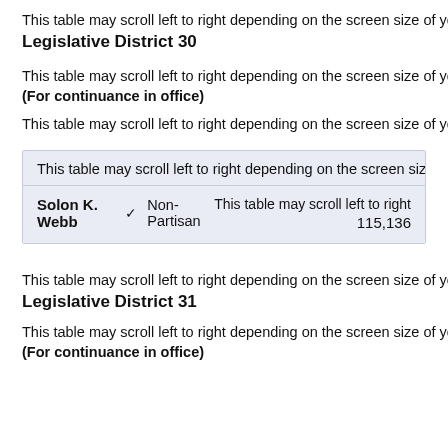This table may scroll left to right depending on the screen size of your d
Legislative District 30
This table may scroll left to right depending on the screen size of your d
(For continuance in office)
This table may scroll left to right depending on the screen size of your d
| Candidate | Party | Scroll note / Votes |
| --- | --- | --- |
| This table may scroll left to right depending on the screen size of your |  |  |
| Solon K. Webb ✓ | Non-Partisan | This table may scroll left to right
115,136 |
This table may scroll left to right depending on the screen size of your d
Legislative District 31
This table may scroll left to right depending on the screen size of your d
(For continuance in office)